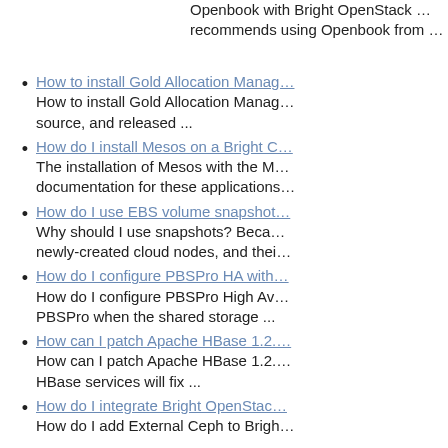Openbook with Bright OpenStack … recommends using Openbook from …
How to install Gold Allocation Manag… | How to install Gold Allocation Manag… source, and released ...
How do I install Mesos on a Bright C… | The installation of Mesos with the M… documentation for these applications…
How do I use EBS volume snapshot… | Why should I use snapshots? Beca… newly-created cloud nodes, and thei…
How do I configure PBSPro HA with… | How do I configure PBSPro High Av… PBSPro when the shared storage ...
How can I patch Apache HBase 1.2.… | How can I patch Apache HBase 1.2.… HBase services will fix ...
How do I integrate Bright OpenStac… | How do I add External Ceph to Brigh… ...
How do I purge/expire my MySQL b…